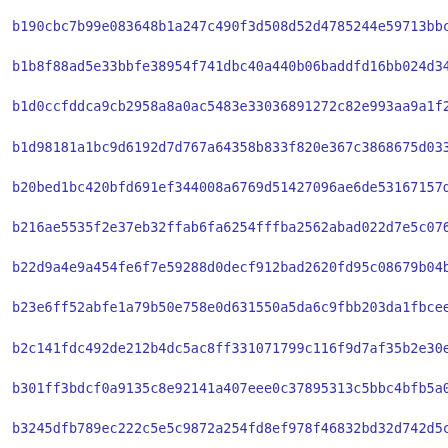b190cbc7b99e083648b1a247c490f3d508d52d4785244e59713bbc47ce3a8
b1b8f88ad5e33bbfe38954f741dbc40a440b06baddfd16bb024d34f84cf9a
b1d0ccfddca9cb2958a8a0ac5483e33036891272c82e993aa9a1f2868f183
b1d98181a1bc9d6192d7d767a64358b833f820e367c3868675d0336105ab6
b20bed1bc420bfd691ef344008a6769d51427096ae6de53167157d08d2ae2
b216ae5535f2e37eb32ffab6fa6254fffba2562abad022d7e5c07690c6b2e
b22d9a4e9a454fe6f7e59288d0decf912bad2620fd95c08679b04bbcf47b3
b23e6ff52abfe1a79b50e758e0d631550a5da6c9fbb203da1fbceefe8fc41
b2c141fdc492de212b4dc5ac8ff331071799c116f9d7af35b2e30ef468548
b301ff3bdcf0a9135c8e92141a407eee0c37895313c5bbc4bfb5a0ee52727
b3245dfb789ec222c5e5c9872a254fd8ef978f46832bd32d742d5c32c50cb